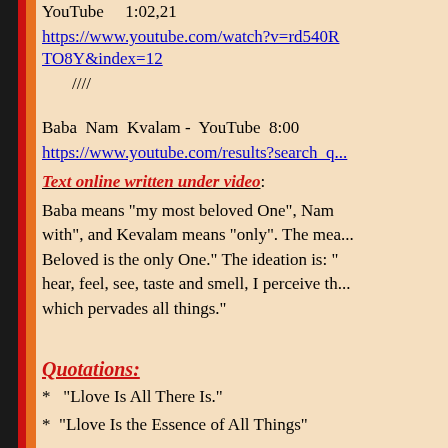YouTube    1:02,21
https://www.youtube.com/watch?v=rd540R TO8Y&index=12
////
Baba Nam Kvalam - YouTube 8:00
https://www.youtube.com/results?search_q...
Text online written under video:
Baba means "my most beloved One", Nam... with", and Kevalam means "only". The mea... Beloved is the only One." The ideation is: "... hear, feel, see, taste and smell, I perceive th... which pervades all things."
Quotations:
* "Llove Is All There Is."
* "Llove Is the Essence of All Things"